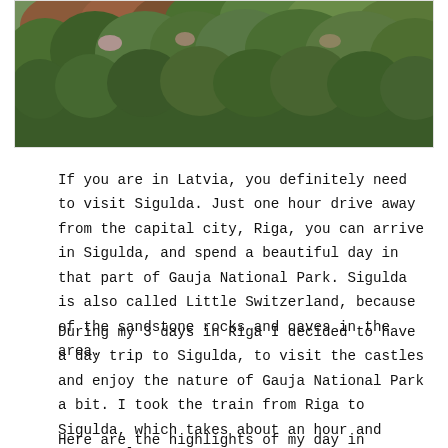[Figure (photo): A forested hillside in autumn with dense green and brown trees filling the frame, cropped at the bottom with a white border around the image.]
If you are in Latvia, you definitely need to visit Sigulda. Just one hour drive away from the capital city, Riga, you can arrive in Sigulda, and spend a beautiful day in that part of Gauja National Park. Sigulda is also called Little Switzerland, because of the sandstone rocks and caves in the area.
During my 3 days in Riga I decided to have a day trip to Sigulda, to visit the castles and enjoy the nature of Gauja National Park a bit. I took the train from Riga to Sigulda, which takes about an hour and costs only 3.70€ return.
Here are the highlights of my day in Sigulda...